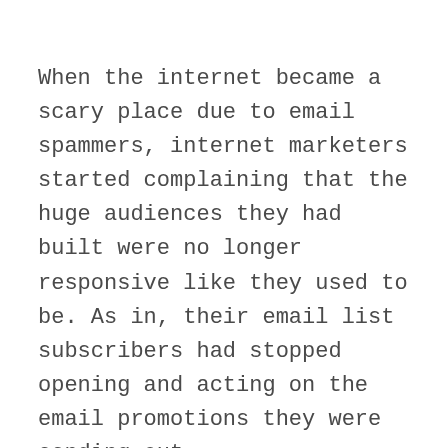When the internet became a scary place due to email spammers, internet marketers started complaining that the huge audiences they had built were no longer responsive like they used to be. As in, their email list subscribers had stopped opening and acting on the email promotions they were sending out.
Now what? Had email marketing died?